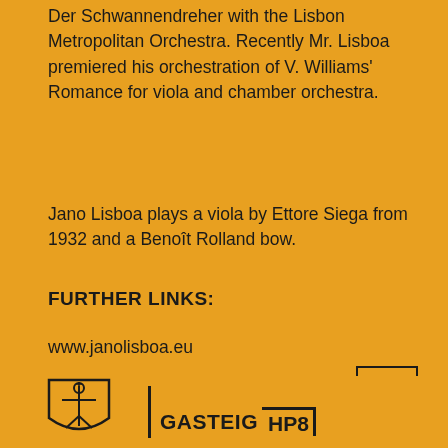Der Schwannendreher with the Lisbon Metropolitan Orchestra. Recently Mr. Lisboa premiered his orchestration of V. Williams' Romance for viola and chamber orchestra.
Jano Lisboa plays a viola by Ettore Siega from 1932 and a Benoît Rolland bow.
FURTHER LINKS:
www.janolisboa.eu
[Figure (logo): City of Munich coat of arms logo and Gasteig HP8 logo at bottom of page]